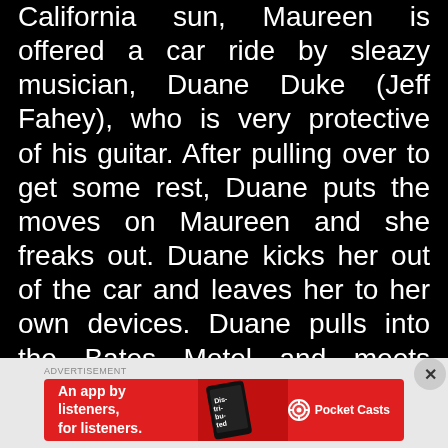California sun, Maureen is offered a car ride by sleazy musician, Duane Duke (Jeff Fahey), who is very protective of his guitar. After pulling over to get some rest, Duane puts the moves on Maureen and she freaks out. Duane kicks her out of the car and leaves her to her own devices. Duane pulls into the Bates Motel and meets Norman. Only instead of staying as a guest, Duane is offered the job as Norman's assistant to help run the motel. Meanwhile
[Figure (screenshot): Red advertisement banner for Pocket Casts app reading 'An app by listeners, for listeners.' with phone graphic showing 'Distributed' podcast app and Pocket Casts logo]